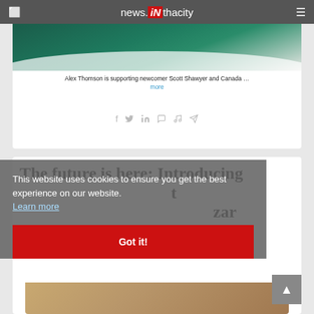news.iN thacity
[Figure (photo): Aerial view of a boat wake on dark teal/green ocean water]
Alex Thomson is supporting newcomer Scott Shawyer and Canada … more
[Figure (infographic): Social sharing icons: Facebook, Twitter, LinkedIn, WhatsApp, Pinterest, Telegram]
The future is here: Introducing t zar
This website uses cookies to ensure you get the best experience on our website. Learn more
Got it!
[Figure (photo): Partial view of what appears to be a wooden surface or furniture at the bottom of the page]